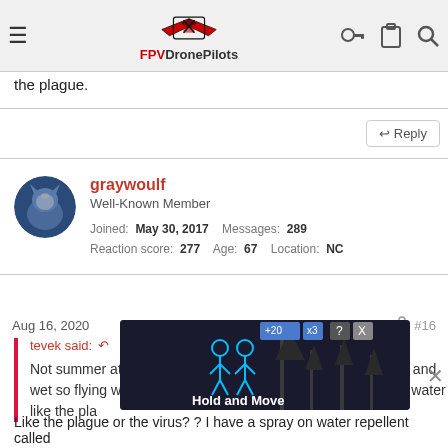FPVDronePilots navigation bar
the plague.
↩ Reply
graywoulf
Well-Known Member
Joined: May 30, 2017  Messages: 289
Reaction score: 277  Age: 67  Location: NC
Aug 16, 2020  #16
tevek said: ↩
Not summer at the moment and the bush is not on fire... Cold and wet so flying when there is a break and avoiding any pools of water like the pla
[Figure (screenshot): Advertisement overlay showing 'Hold and Move' game/app with dark background and tree silhouettes]
Like the plague or the virus? ? I have a spray on water repellent called